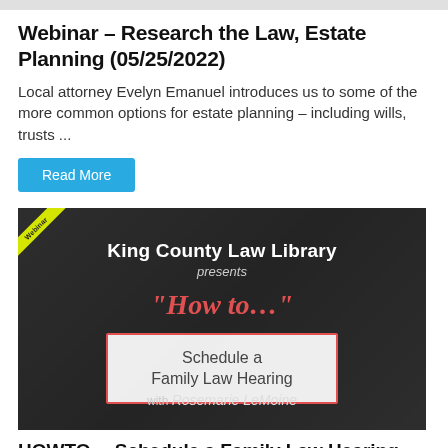Webinar – Research the Law, Estate Planning (05/25/2022)
Local attorney Evelyn Emanuel introduces us to some of the more common options for estate planning – including wills, trusts ...
Read More
[Figure (screenshot): King County Law Library presents 'How to...' Schedule a Family Law Hearing with Rosemarie LeMoine — promotional webinar thumbnail image with dark background]
HOWTO… Schedule a Family Law Hearing